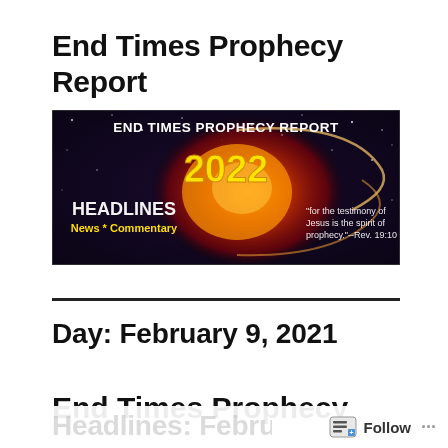End Times Prophecy Report
[Figure (illustration): End Times Prophecy Report 2022 banner with space background, large orange/red cosmic object, text: END TIMES PROPHECY REPORT, 2022, HEADLINES, News * Commentary, and quote 'for the testimony of Jesus is the spirit of prophecy.'--Rev. 19:10]
Day: February 9, 2021
End Times Prophecy